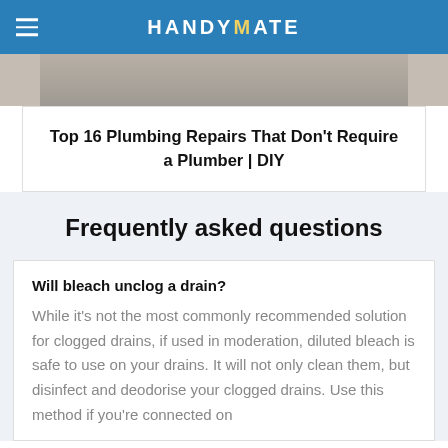HANDYMATE
[Figure (photo): Partial photo strip showing a person, cropped at top]
Top 16 Plumbing Repairs That Don't Require a Plumber | DIY
Frequently asked questions
Will bleach unclog a drain?
While it's not the most commonly recommended solution for clogged drains, if used in moderation, diluted bleach is safe to use on your drains. It will not only clean them, but disinfect and deodorise your clogged drains. Use this method if you're connected on